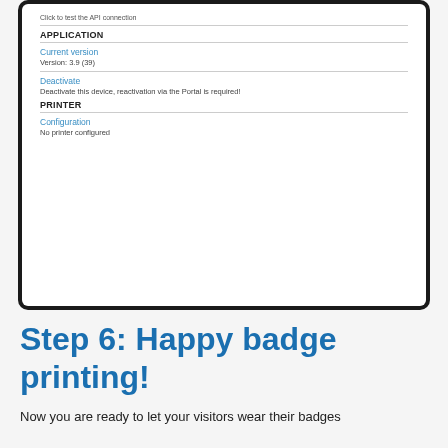[Figure (screenshot): Android tablet screenshot showing application settings with sections: APPLICATION (Current version: Version: 3.9 (39), Deactivate: Deactivate this device, reactivation via the Portal is required!) and PRINTER (Configuration: No printer configured)]
Step 6: Happy badge printing!
Now you are ready to let your visitors wear their badges